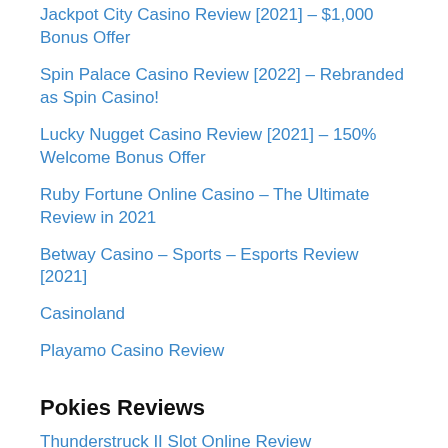Jackpot City Casino Review [2021] – $1,000 Bonus Offer
Spin Palace Casino Review [2022] – Rebranded as Spin Casino!
Lucky Nugget Casino Review [2021] – 150% Welcome Bonus Offer
Ruby Fortune Online Casino – The Ultimate Review in 2021
Betway Casino – Sports – Esports Review [2021]
Casinoland
Playamo Casino Review
Pokies Reviews
Thunderstruck II Slot Online Review